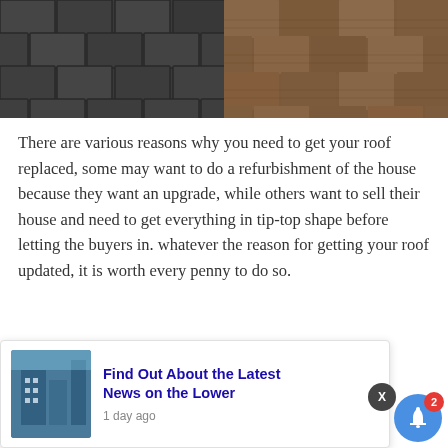[Figure (photo): Two side-by-side roof shingle photos: left shows dark gray/charcoal shingles in a diagonal pattern, right shows brown/terra cotta aged shingles in a diagonal pattern]
There are various reasons why you need to get your roof replaced, some may want to do a refurbishment of the house because they want an upgrade, while others want to sell their house and need to get everything in tip-top shape before letting the buyers in. whatever the reason for getting your roof updated, it is worth every penny to do so.
Not checking or replacing your roof at the first sign of damage will cost you a whole lot more when the thing collapses or eaves in. Things such as water le...
[Figure (screenshot): Ad overlay with building photo, 'Find Out About the Latest News on the Lower' headline in blue, '1 day ago' timestamp. Close X button and notification bell with badge '2' also visible.]